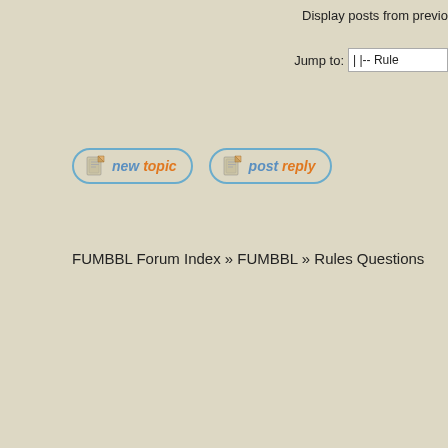Display posts from previo...
Jump to:  | |-- Rule...
[Figure (screenshot): Two forum action buttons: 'new topic' and 'post reply', styled with rounded pill borders in blue and italic text in blue/orange]
FUMBBL Forum Index » FUMBBL » Rules Questions